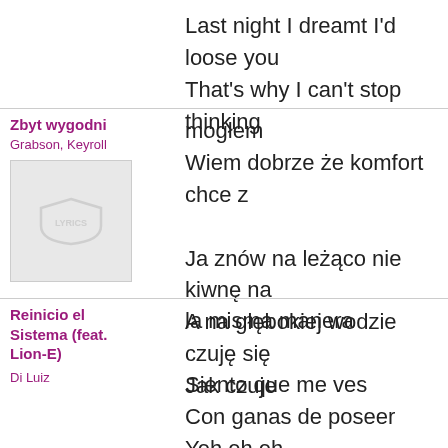Last night I dreamt I'd loose you
That's why I can't stop thinking
Zbyt wygodni
Grabson, Keyroll
[Figure (logo): Album art placeholder with LYRICS shield logo]
mogłem
Wiem dobrze że komfort chce z

Ja znów na leżąco nie kiwnę na
A na głębokiej wodzie czuję się
Jak czuje
Reinicio el Sistema (feat. Lion-E)
Di Luiz
la misma manera

Siento que me ves
Con ganas de poseer
Yeh eh eh